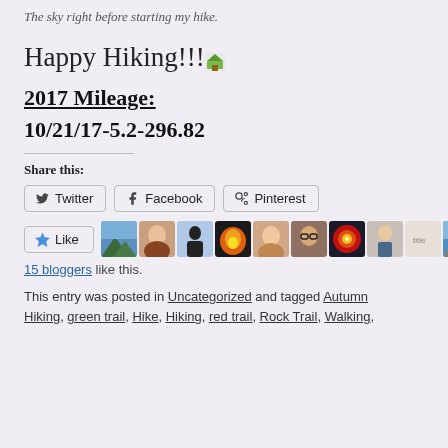The sky right before starting my hike.
Happy Hiking!!!
2017 Mileage:
10/21/17-5.2-296.82
Share this:
Twitter  Facebook  Pinterest
[Figure (other): Like button with star icon and avatar photos of 15 bloggers who liked the post]
15 bloggers like this.
This entry was posted in Uncategorized and tagged Autumn Hiking, green trail, Hike, Hiking, red trail, Rock Trail, Walking,